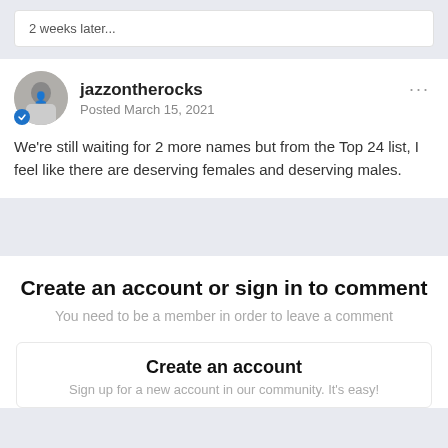2 weeks later...
jazzontherocks
Posted March 15, 2021
We're still waiting for 2 more names but from the Top 24 list, I feel like there are deserving females and deserving males.
Create an account or sign in to comment
You need to be a member in order to leave a comment
Create an account
Sign up for a new account in our community. It's easy!